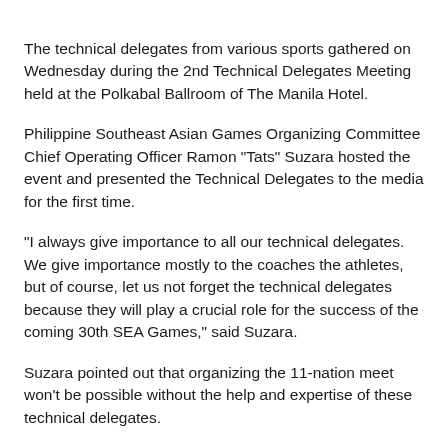The technical delegates from various sports gathered on Wednesday during the 2nd Technical Delegates Meeting held at the Polkabal Ballroom of The Manila Hotel.
Philippine Southeast Asian Games Organizing Committee Chief Operating Officer Ramon "Tats" Suzara hosted the event and presented the Technical Delegates to the media for the first time.
"I always give importance to all our technical delegates. We give importance mostly to the coaches the athletes, but of course, let us not forget the technical delegates because they will play a crucial role for the success of the coming 30th SEA Games," said Suzara.
Suzara pointed out that organizing the 11-nation meet won't be possible without the help and expertise of these technical delegates.
Valean Cuddikette, the technical delegate for athletics